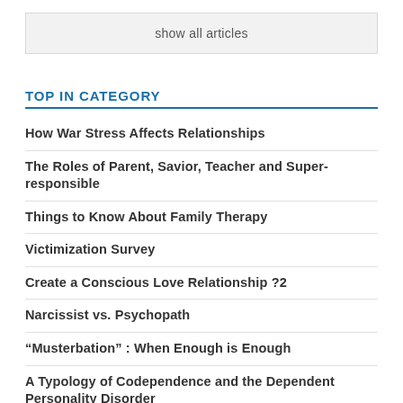show all articles
TOP IN CATEGORY
How War Stress Affects Relationships
The Roles of Parent, Savior, Teacher and Super-responsible
Things to Know About Family Therapy
Victimization Survey
Create a Conscious Love Relationship ?2
Narcissist vs. Psychopath
“Musterbation” : When Enough is Enough
A Typology of Codependence and the Dependent Personality Disorder